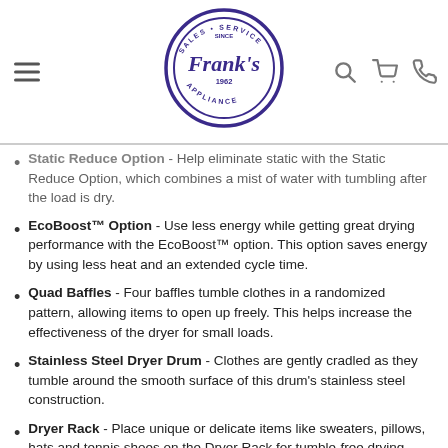Frank's Appliance - Sales Service Since 1962
Static Reduce Option - Help eliminate static with the Static Reduce Option, which combines a mist of water with tumbling after the load is dry.
EcoBoost™ Option - Use less energy while getting great drying performance with the EcoBoost™ option. This option saves energy by using less heat and an extended cycle time.
Quad Baffles - Four baffles tumble clothes in a randomized pattern, allowing items to open up freely. This helps increase the effectiveness of the dryer for small loads.
Stainless Steel Dryer Drum - Clothes are gently cradled as they tumble around the smooth surface of this drum's stainless steel construction.
Dryer Rack - Place unique or delicate items like sweaters, pillows, hats and tennis shoes on the Dryer Rack for tumble-free drying. This rack attaches inside the drum and stays in one place throughout the cycle. Rack ships separately after online product registration.